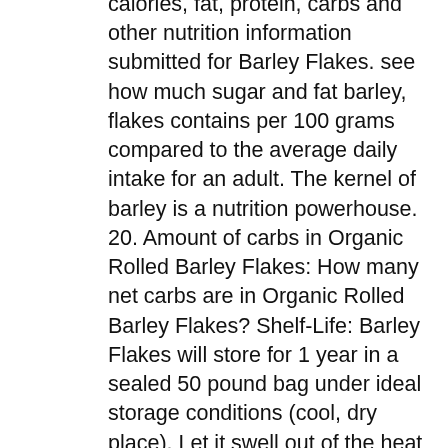calories, fat, protein, carbs and other nutrition information submitted for Barley Flakes. see how much sugar and fat barley, flakes contains per 100 grams compared to the average daily intake for an adult. The kernel of barley is a nutrition powerhouse. 20. Amount of carbs in Organic Rolled Barley Flakes: How many net carbs are in Organic Rolled Barley Flakes? Shelf-Life: Barley Flakes will store for 1 year in a sealed 50 pound bag under ideal storage conditions (cool, dry place). Let it swell out of the heat for 2 minutes. NUTRITION Ingredient 100g / Contributions Fat* 2,1g/3% Carbonhydrates** 63g/24% Protein 11g/22% Salt 0,00g/0% *of which saturated fatty acids : 1,1g/5% **of which sugar : 1,2g/1% Fibre 8,8g. ... From pearl barley and pot barley to barley flakes and malt extract, there are several ways to make this super grain a part of your everyday diet. Recent Articles. All barley products have a mild, starchy, slightly nutty flavor. a meal plan in 2 clicks for free! Barley nutrition infographic. Unfi. De très nombreux exemples de phrases traduites contenant "barley flakes" – Dictionnaire français-anglais et moteur de recherche de traductions françaises. Soup, beef